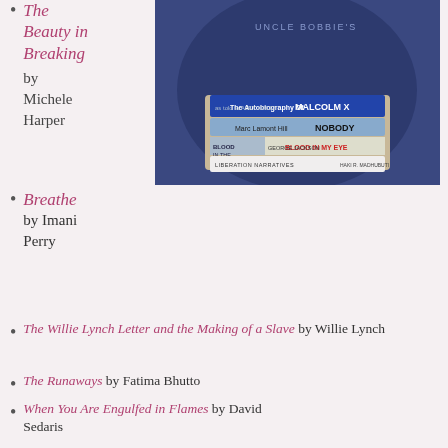The Beauty in Breaking by Michele Harper
[Figure (photo): Person in dark hoodie with 'Uncle Bobbie's' text, holding a stack of books including The Autobiography of Malcolm X, Nobody, Blood in the Water, Blood in My Eye, and Liberation Narratives]
Breathe by Imani Perry
The Willie Lynch Letter and the Making of a Slave by Willie Lynch
The Runaways by Fatima Bhutto
When You Are Engulfed in Flames by David Sedaris
Samantha Irby
Remembered Rapture by belle hooks
The Bell Curve by Richard J. Herrnstein and